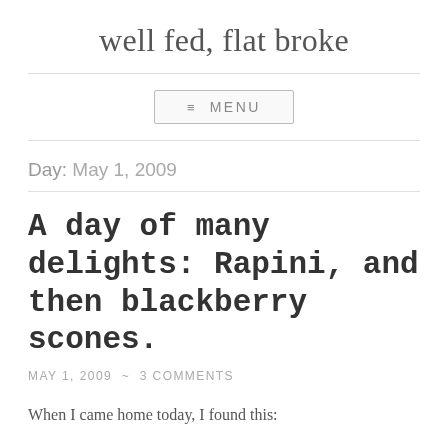well fed, flat broke
≡ MENU
Day: May 1, 2009
A day of many delights: Rapini, and then blackberry scones.
MAY 1, 2009 ~ 3 COMMENTS
When I came home today, I found this: